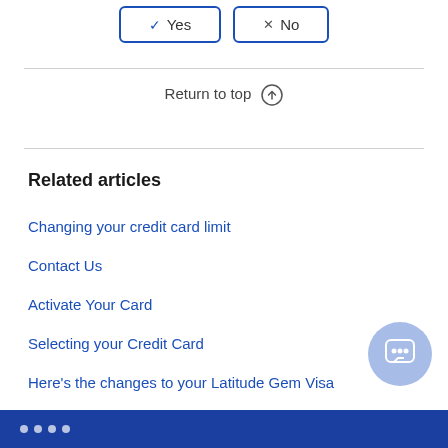[Figure (other): Yes and No button options at the top of the page]
Return to top ↑
Related articles
Changing your credit card limit
Contact Us
Activate Your Card
Selecting your Credit Card
Here's the changes to your Latitude Gem Visa